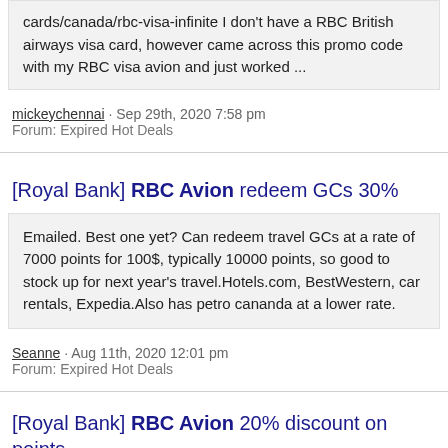cards/canada/rbc-visa-infinite I don't have a RBC British airways visa card, however came across this promo code with my RBC visa avion and just worked ...
mickeychennai · Sep 29th, 2020 7:58 pm
Forum: Expired Hot Deals
[Royal Bank] RBC Avion redeem GCs 30%
Emailed. Best one yet? Can redeem travel GCs at a rate of 7000 points for 100$, typically 10000 points, so good to stock up for next year's travel.Hotels.com, BestWestern, car rentals, Expedia.Also has petro cananda at a lower rate.
Seanne · Aug 11th, 2020 12:01 pm
Forum: Expired Hot Deals
[Royal Bank] RBC Avion 20% discount on points